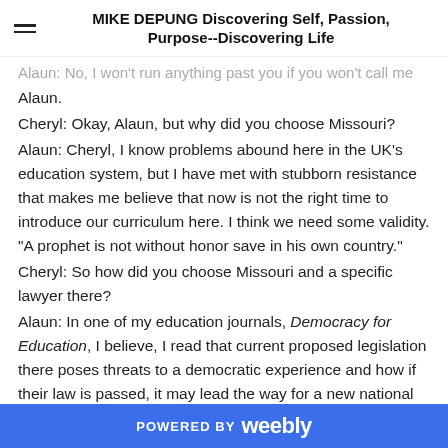MIKE DEPUNG Discovering Self, Passion, Purpose--Discovering Life
Alaun: No, I won't run anything past you if you won't call me Alaun.
Cheryl: Okay, Alaun, but why did you choose Missouri?
Alaun: Cheryl, I know problems abound here in the UK's education system, but I have met with stubborn resistance that makes me believe that now is not the right time to introduce our curriculum here. I think we need some validity. "A prophet is not without honor save in his own country."
Cheryl: So how did you choose Missouri and a specific lawyer there?
Alaun: In one of my education journals, Democracy for Education, I believe, I read that current proposed legislation there poses threats to a democratic experience and how if their law is passed, it may lead the way for a new national curriculum, a very prescribed, undemocratic mess.
Cheryl: If Missouri is leading the way, how are your ideas ever
POWERED BY weebly